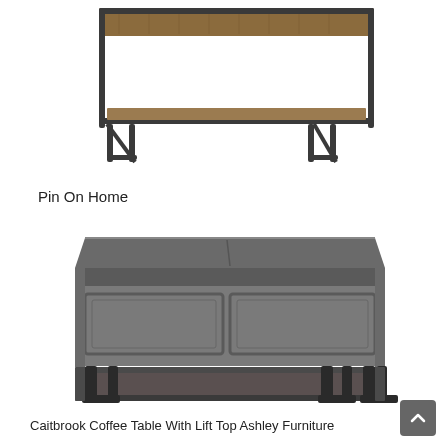[Figure (photo): Partial view of a rectangular industrial-style coffee table with a brown/walnut wood top and dark metal frame legs, photographed from a slightly elevated angle against a white background.]
Pin On Home
[Figure (photo): A Caitbrook coffee table with lift top from Ashley Furniture, featuring a dark gray/charcoal wood body with paneled front drawer detail, black metal legs, and a lower open shelf. Photographed straight-on against a white background.]
Caitbrook Coffee Table With Lift Top Ashley Furniture